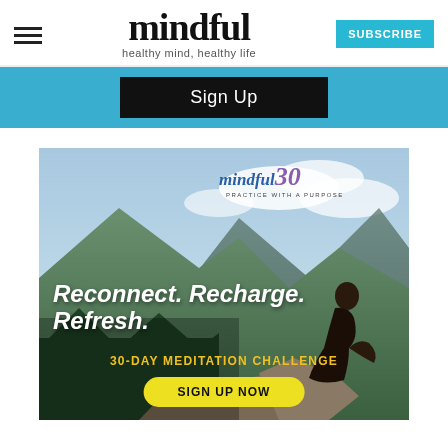mindful — healthy mind, healthy life — SUBSCRIBE
Sign Up
[Figure (illustration): Advertisement for Mindful30 30-Day Meditation Challenge. Background shows a woman sitting on a rocky mountain ledge with green mountains and cloudy sky. Text overlay reads: mindful30 PRACTICE WITH A PURPOSE — Reconnect. Recharge. Refresh. — 30-DAY MEDITATION CHALLENGE — SIGN UP NOW button in yellow pill shape.]